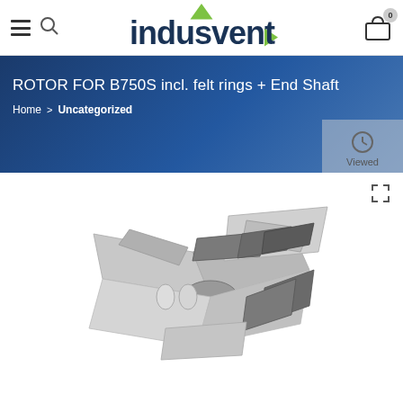indusvent — menu, search, cart (0)
ROTOR FOR B750S incl. felt rings + End Shaft
Home > Uncategorized
Viewed
[Figure (photo): 3D rendering of a rotor assembly for B750S fan, showing multiple angled blades mounted on a central shaft with felt rings and end shaft components. Grey metallic coloring.]